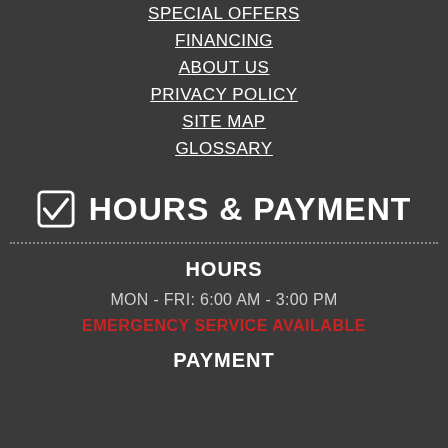SPECIAL OFFERS
FINANCING
ABOUT US
PRIVACY POLICY
SITE MAP
GLOSSARY
HOURS & PAYMENT
HOURS
MON - FRI: 6:00 AM - 3:00 PM
EMERGENCY SERVICE AVAILABLE
PAYMENT